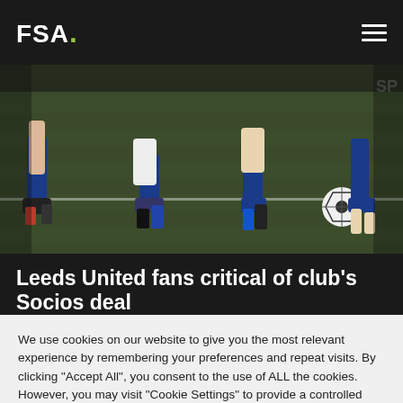FSA.
[Figure (photo): Close-up photo of football/soccer players' legs running on a pitch, wearing blue socks and boots, with a football visible in the background.]
Leeds United fans critical of club's Socios deal
We use cookies on our website to give you the most relevant experience by remembering your preferences and repeat visits. By clicking "Accept All", you consent to the use of ALL the cookies. However, you may visit "Cookie Settings" to provide a controlled consent.